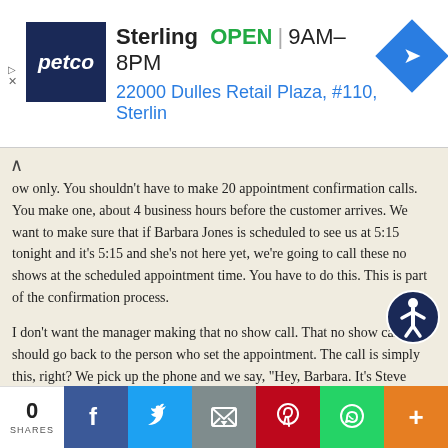[Figure (screenshot): Petco Sterling store ad banner showing OPEN status, hours 9AM-8PM, address 22000 Dulles Retail Plaza #110, Sterlin, with Petco logo and navigation arrow icon]
ow only. You shouldn't have to make 20 appointment confirmation calls. You make one, about 4 business hours before the customer arrives. We want to make sure that if Barbara Jones is scheduled to see us at 5:15 tonight and it's 5:15 and she's not here yet, we're going to call these no shows at the scheduled appointment time. You have to do this. This is part of the confirmation process.
I don't want the manager making that no show call. That no show call should go back to the person who set the appointment. The call is simply this, right? We pick up the phone and we say, "Hey, Barbara. It's Steve Stauning calling from Steve's Honda. I just want to make sure you're able to find our facility," right? It's 5:15. She couldn't find our facility yet. The reason I'm going to make the call at the scheduled time is because I want to sell a car. See, maybe she was early. Maybe we work on a motor mile. Maybe she got here early, and I called her and she said, "Oh, yeah. I
0 SHARES | Facebook | Twitter | Email | Pinterest | WhatsApp | More